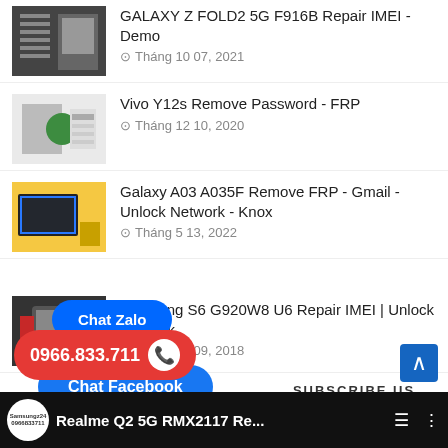GALAXY Z FOLD2 5G F916B Repair IMEI - Demo
Tháng 10 07, 2021
Vivo Y12s Remove Password - FRP
Tháng 12 10, 2020
Galaxy A03 A035F Remove FRP - Gmail - Unlock Network - Knox
Tháng 5 13, 2022
Samsung S6 G920W8 U6 Repair IMEI | Unlock Network
Tháng 11 09, 2018
[Figure (other): Chat Zalo button overlay]
[Figure (other): Chat Facebook button overlay]
SUBSCRIBE US
0966.833.711
[Figure (other): Scroll-up blue arrow button]
[Figure (other): Bottom video bar with logo and title: Realme Q2 5G RMX2117 Re...]